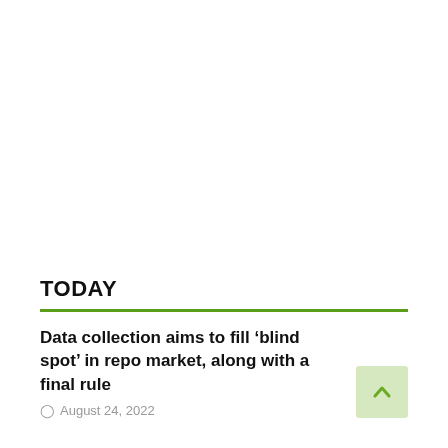TODAY
Data collection aims to fill ‘blind spot’ in repo market, along with a final rule
August 24, 2022